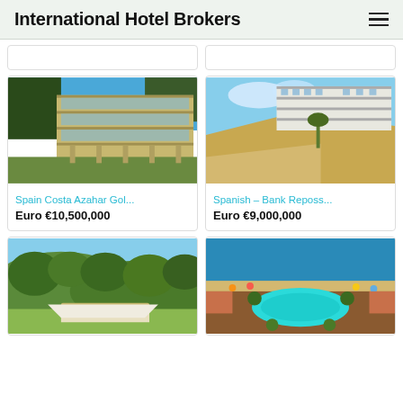International Hotel Brokers
[Figure (photo): Modern hotel building - Spain Costa Azahar Golf property]
Spain Costa Azahar Gol...
Euro €10,500,000
[Figure (photo): Clifftop white hotel buildings with beach - Spanish Bank Repossession property]
Spanish – Bank Reposs...
Euro €9,000,000
[Figure (photo): Tropical resort with palm trees - hotel listing]
[Figure (photo): Aerial view of beach resort with pool - hotel listing]